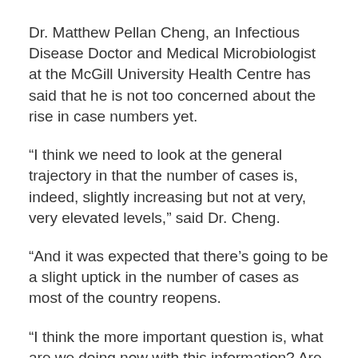Dr. Matthew Pellan Cheng, an Infectious Disease Doctor and Medical Microbiologist at the McGill University Health Centre has said that he is not too concerned about the rise in case numbers yet.
“I think we need to look at the general trajectory in that the number of cases is, indeed, slightly increasing but not at very, very elevated levels,” said Dr. Cheng.
“And it was expected that there’s going to be a slight uptick in the number of cases as most of the country reopens.
“I think the more important question is, what are we doing now with this information? Are we implementing appropriate contact tracing? Are we reinforcing important public health mitigation strategies? Are we going to let it continue or are we going to start planking